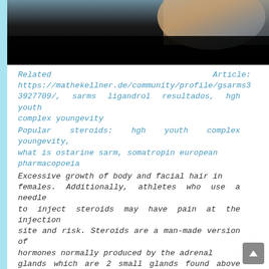[Figure (photo): Dark atmospheric photo showing a partial view of a person against a dark background, upper portion with clothing visible]
Related Article: https://mathekellner.de/community/profile/gsarms33927709/, sarms ligandrol resultados, hgh youth complex youngevity
Popular steroids: hgh youth complex youngevity, what is ostarine sarm, somatropin european pharmacopoeia
Excessive growth of body and facial hair in females. Additionally, athletes who use a needle to inject steroids may have pain at the injection site and risk. Steroids are a man-made version of hormones normally produced by the adrenal glands which are 2 small glands found above the kidneys. When taken in doses higher. A synthetic drug that acts like your body's natural hormones, like testosterone. Reasons steroids are used: increase strength and muscle mass. — muscle dysmorphia, or an unhealthy view of one's own